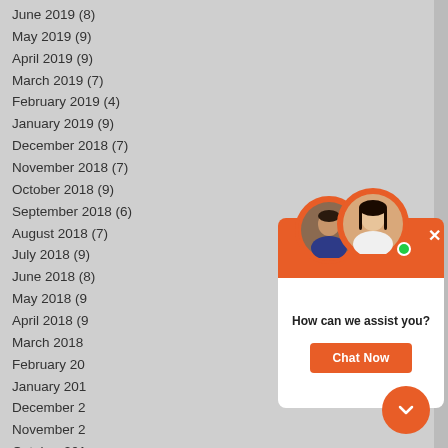June 2019 (8)
May 2019 (9)
April 2019 (9)
March 2019 (7)
February 2019 (4)
January 2019 (9)
December 2018 (7)
November 2018 (7)
October 2018 (9)
September 2018 (6)
August 2018 (7)
July 2018 (9)
June 2018 (8)
May 2018 (9)
April 2018 (9)
March 2018
February 2018
January 2018
December 2
November 2
October 2017
September 2
August 2017
July 2017 (5)
June 2017 (7)
May 2017 (8)
April 2017 (3)
March 2017 (7)
February 2017 (?)
[Figure (screenshot): Chat widget overlay with orange header bar, two agent avatar photos with a green online indicator, close X button, text 'How can we assist you?', and an orange 'Chat Now' button.]